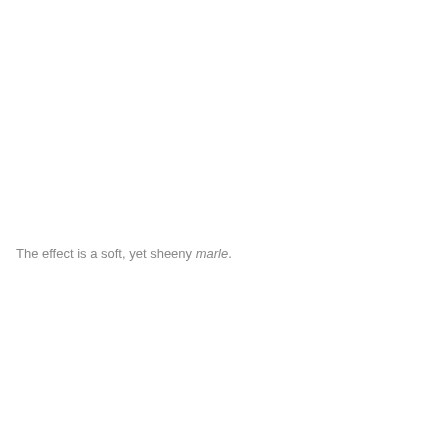The effect is a soft, yet sheeny marle.